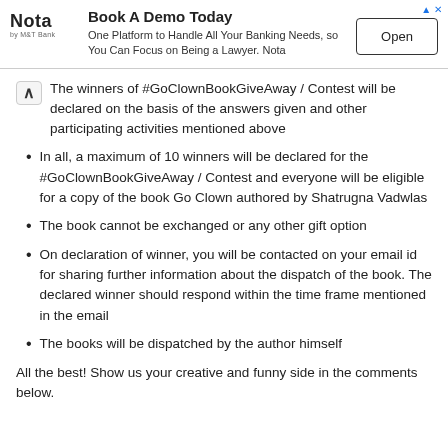[Figure (other): Advertisement banner for Nota banking platform with logo, title 'Book A Demo Today', description text, and Open button]
The winners of #GoClownBookGiveAway / Contest will be declared on the basis of the answers given and other participating activities mentioned above
In all, a maximum of 10 winners will be declared for the #GoClownBookGiveAway / Contest and everyone will be eligible for a copy of the book Go Clown authored by Shatrugna Vadwlas
The book cannot be exchanged or any other gift option
On declaration of winner, you will be contacted on your email id for sharing further information about the dispatch of the book. The declared winner should respond within the time frame mentioned in the email
The books will be dispatched by the author himself
All the best! Show us your creative and funny side in the comments below.